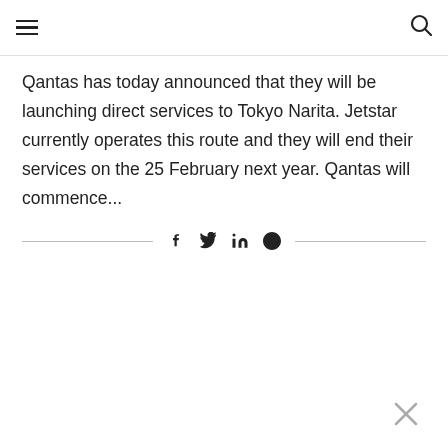[hamburger menu icon] [search icon]
Qantas has today announced that they will be launching direct services to Tokyo Narita. Jetstar currently operates this route and they will end their services on the 25 February next year. Qantas will commence...
[Figure (other): Social share bar with icons for Facebook, Twitter, LinkedIn, and Reddit, flanked by horizontal lines]